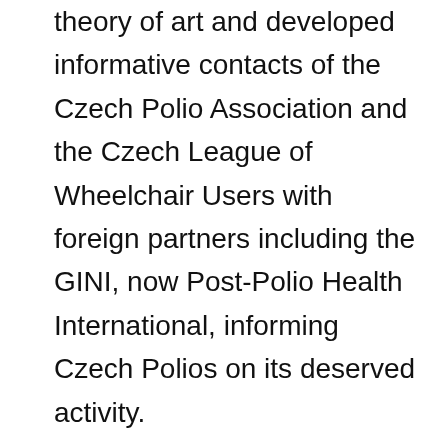theory of art and developed informative contacts of the Czech Polio Association and the Czech League of Wheelchair Users with foreign partners including the GINI, now Post-Polio Health International, informing Czech Polios on its deserved activity.

In some chapters he depicted his experiences as a delegate at the Independence Congress in Vancouver and the World Congress of Rehabilitation International in Nairobi in 1992. He wrote also about his interest in modern African art and how he gave lectures to university